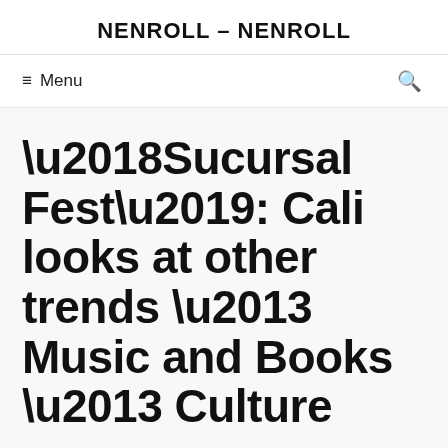NENROLL – NENROLL
≡ Menu
'Sucursal Fest': Cali looks at other trends – Music and Books – Culture
June 23, 2022 by admin